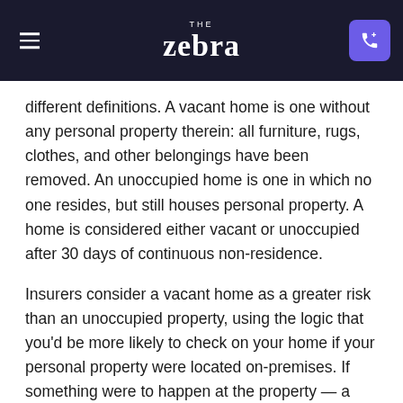THE zebra
different definitions. A vacant home is one without any personal property therein: all furniture, rugs, clothes, and other belongings have been removed. An unoccupied home is one in which no one resides, but still houses personal property. A home is considered either vacant or unoccupied after 30 days of continuous non-residence.
Insurers consider a vacant home as a greater risk than an unoccupied property, using the logic that you'd be more likely to check on your home if your personal property were located on-premises. If something were to happen at the property — a burst pipe or a break-in — the insurance company might be notified in a more timely manner.